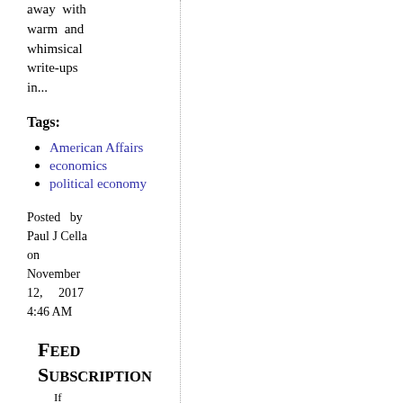away with warm and whimsical write-ups in...
Tags:
American Affairs
economics
political economy
Posted by Paul J Cella on November 12, 2017 4:46 AM
Feed Subscription
If